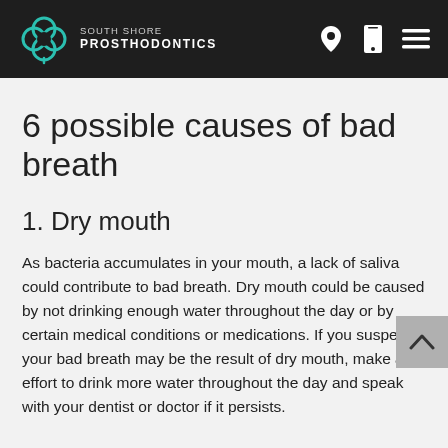SOUTH SHORE PROSTHODONTICS
6 possible causes of bad breath
1. Dry mouth
As bacteria accumulates in your mouth, a lack of saliva could contribute to bad breath. Dry mouth could be caused by not drinking enough water throughout the day or by certain medical conditions or medications. If you suspect your bad breath may be the result of dry mouth, make an effort to drink more water throughout the day and speak with your dentist or doctor if it persists.